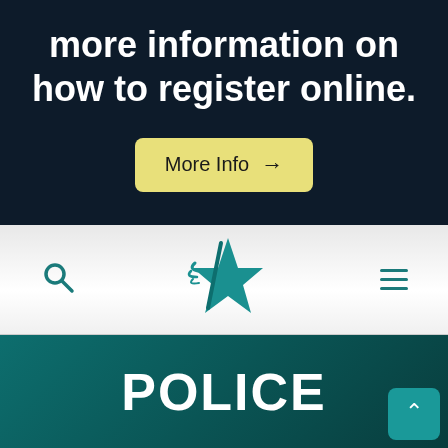more information on how to register online.
More Info →
[Figure (logo): Teal/green star logo with wing-like streaks, used as a city or government website navigation logo]
POLICE